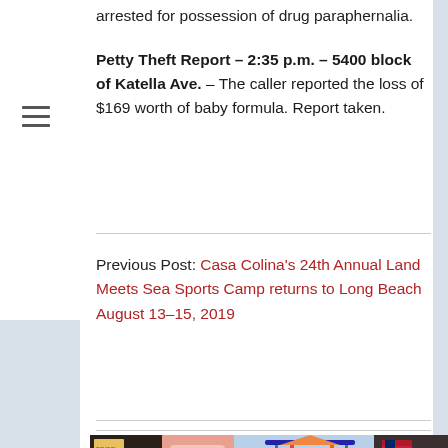arrested for possession of drug paraphernalia.
Petty Theft Report – 2:35 p.m. – 5400 block of Katella Ave. – The caller reported the loss of $169 worth of baby formula. Report taken.
Previous Post: Casa Colina's 24th Annual Land Meets Sea Sports Camp returns to Long Beach August 13–15, 2019
Next Post: Los Alamitos police blotter, June 28 to July 4, 2019
[Figure (photo): Strip of photos showing various community images including food, a playground, and people at an event]